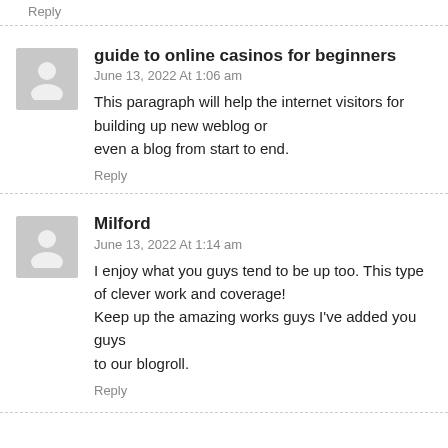Reply
guide to online casinos for beginners
June 13, 2022 At 1:06 am
This paragraph will help the internet visitors for building up new weblog or even a blog from start to end.
Reply
Milford
June 13, 2022 At 1:14 am
I enjoy what you guys tend to be up too. This type of clever work and coverage! Keep up the amazing works guys I've added you guys to our blogroll.
Reply